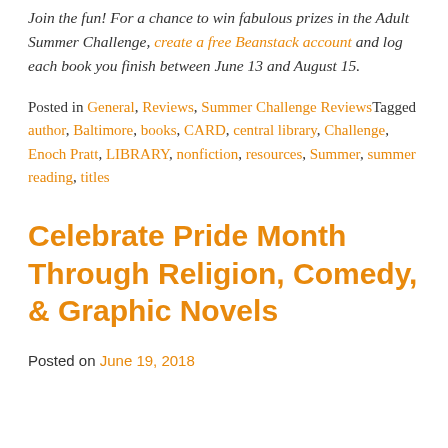Join the fun! For a chance to win fabulous prizes in the Adult Summer Challenge, create a free Beanstack account and log each book you finish between June 13 and August 15.
Posted in General, Reviews, Summer Challenge ReviewsTagged author, Baltimore, books, CARD, central library, Challenge, Enoch Pratt, LIBRARY, nonfiction, resources, Summer, summer reading, titles
Celebrate Pride Month Through Religion, Comedy, & Graphic Novels
Posted on June 19, 2018